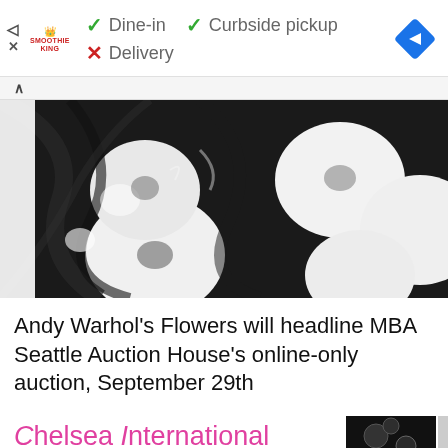[Figure (screenshot): Ad bar with Smoothie King logo, dine-in/curbside pickup checkmarks, delivery X, and navigation diamond icon]
✓ Dine-in
✓ Curbside pickup
✗ Delivery
[Figure (photo): Black and white close-up photo of Andy Warhol's Flowers artwork showing large flower shapes on dark background]
Andy Warhol's Flowers will headline MBA Seattle Auction House's online-only auction, September 29th
[Figure (photo): Bottom portion showing Chelsea International Fine Art Competition logo text in pink and black, with partial dark artwork image on right]